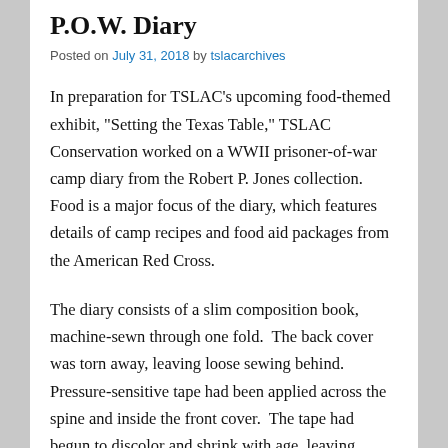P.O.W. Diary
Posted on July 31, 2018 by tslacarchives
In preparation for TSLAC’s upcoming food-themed exhibit, “Setting the Texas Table,” TSLAC Conservation worked on a WWII prisoner-of-war camp diary from the Robert P. Jones collection. Food is a major focus of the diary, which features details of camp recipes and food aid packages from the American Red Cross.
The diary consists of a slim composition book, machine-sewn through one fold.  The back cover was torn away, leaving loose sewing behind. Pressure-sensitive tape had been applied across the spine and inside the front cover.  The tape had begun to discolor and shrink with age, leaving sticky spots exposed at its edges.